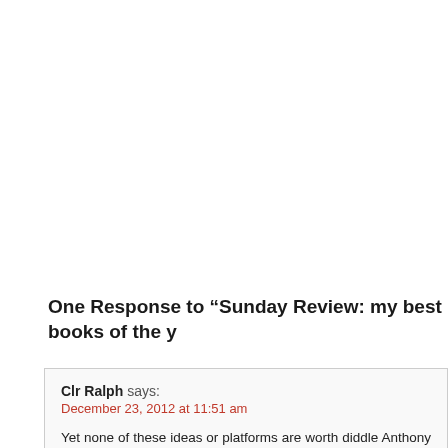One Response to “Sunday Review: my best books of the y
Clr Ralph says:
December 23, 2012 at 11:51 am
Yet none of these ideas or platforms are worth diddle Anthony if you do not have com people to believe in them and implement them objectively, can you really see your pre Leadership who are continually all over each other in self-adulation, fake flattery